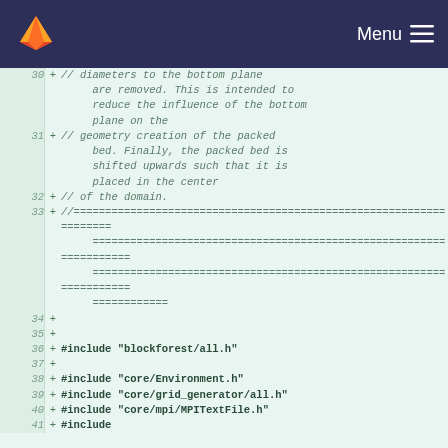Menu
[Figure (screenshot): GitLab code diff view showing lines 30-41 of a C++ source file with added lines (marked with +). Lines include comments about diameters, bottom plane, geometry creation, packed bed, and #include statements for blockforest/all.h, core/Environment.h, core/grid_generator/all.h, core/mpi/MPITextFile.h, and a partial line 41.]